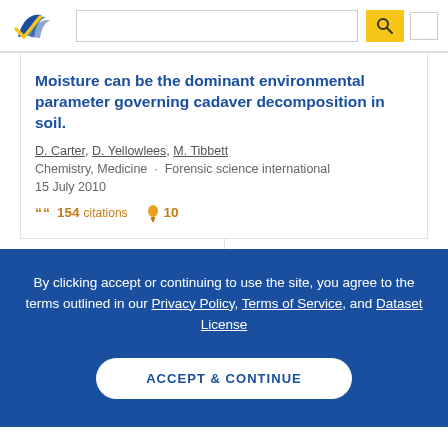Semantic Scholar search interface header with logo and search bar
Moisture can be the dominant environmental parameter governing cadaver decomposition in soil.
D. Carter, D. Yellowlees, M. Tibbett
Chemistry, Medicine · Forensic science international
15 July 2010
154 citations  10
By clicking accept or continuing to use the site, you agree to the terms outlined in our Privacy Policy, Terms of Service, and Dataset License
ACCEPT & CONTINUE